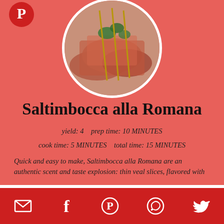[Figure (photo): Circular cropped photo of Saltimbocca alla Romana skewers with prosciutto and herbs]
Saltimbocca alla Romana
yield: 4   prep time: 10 MINUTES
cook time: 5 MINUTES   total time: 15 MINUTES
Quick and easy to make, Saltimbocca alla Romana are an authentic scent and taste explosion: thin veal slices, flavored with
Manage Cookie Consent
We use cookies to optimize our website and our service.
ACCEPT